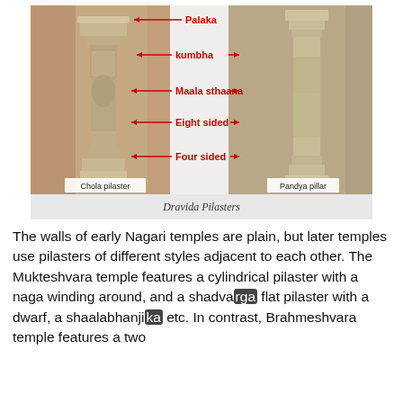[Figure (illustration): Annotated diagram showing Dravida Pilasters — a Chola pilaster on the left and a Pandya pillar on the right. Red arrows label architectural parts: Palaka (top), kumbha, Maala sthaana, Eight sided, Four sided. Labels 'Chola pilaster' and 'Pandya pillar' appear at the bottom. Caption reads 'Dravida Pilasters' in italic.]
The walls of early Nagari temples are plain, but later temples use pilasters of different styles adjacent to each other. The Mukteshvara temple features a cylindrical pilaster with a naga winding around, and a shadvarga flat pilaster with a dwarf, a shaalabhanjika etc. In contrast, Brahmeshvara temple features a two